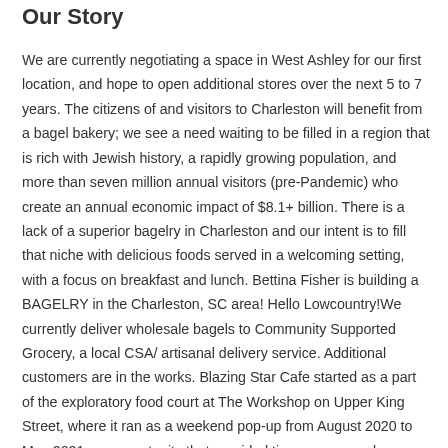Our Story
We are currently negotiating a space in West Ashley for our first location, and hope to open additional stores over the next 5 to 7 years. The citizens of and visitors to Charleston will benefit from a bagel bakery; we see a need waiting to be filled in a region that is rich with Jewish history, a rapidly growing population, and more than seven million annual visitors (pre-Pandemic) who create an annual economic impact of $8.1+ billion. There is a lack of a superior bagelry in Charleston and our intent is to fill that niche with delicious foods served in a welcoming setting, with a focus on breakfast and lunch. Bettina Fisher is building a BAGELRY in the Charleston, SC area! Hello Lowcountry!We currently deliver wholesale bagels to Community Supported Grocery, a local CSA/ artisanal delivery service. Additional customers are in the works. Blazing Star Cafe started as a part of the exploratory food court at The Workshop on Upper King Street, where it ran as a weekend pop-up from August 2020 to May 2021, an opportunity that provided time, space, and equipment to hone our